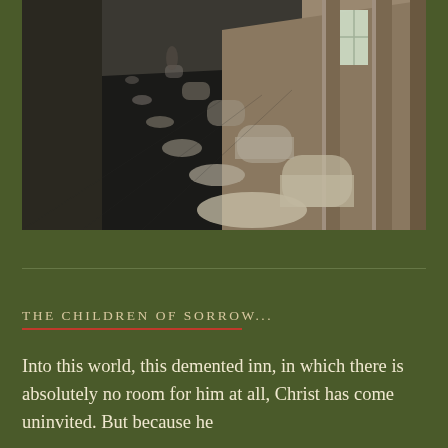[Figure (photo): A long corridor or hallway with stone columns on the right side and a tiled floor. Light filters through windows on the right, casting elongated oval and rectangular patches of light on the dark stone floor. The perspective recedes into the distance.]
THE CHILDREN OF SORROW...
Into this world, this demented inn, in which there is absolutely no room for him at all, Christ has come uninvited. But because he